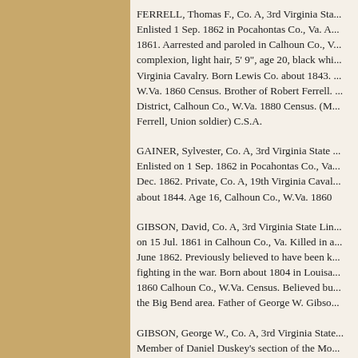FERRELL, Thomas F., Co. A, 3rd Virginia Sta... Enlisted 1 Sep. 1862 in Pocahontas Co., Va. A... 1861. Aarrested and paroled in Calhoun Co., W... complexion, light hair, 5' 9", age 20, black whi... Virginia Cavalry. Born Lewis Co. about 1843. ... W.Va. 1860 Census. Brother of Robert Ferrell. ... District, Calhoun Co., W.Va. 1880 Census. (M... Ferrell, Union soldier) C.S.A.
GAINER, Sylvester, Co. A, 3rd Virginia State ... Enlisted on 1 Sep. 1862 in Pocahontas Co., Va... Dec. 1862. Private, Co. A, 19th Virginia Caval... about 1844. Age 16, Calhoun Co., W.Va. 1860
GIBSON, David, Co. A, 3rd Virginia State Lin... on 15 Jul. 1861 in Calhoun Co., Va. Killed in a... June 1862. Previously believed to have been k... fighting in the war. Born about 1804 in Louisa... 1860 Calhoun Co., W.Va. Census. Believed bu... the Big Bend area. Father of George W. Gibso...
GIBSON, George W., Co. A, 3rd Virginia State... Member of Daniel Duskey's section of the Mo... July 1861 in Calhoun Co., Va. Captured Wirt C... Lieutenant Co. A, 19th Virginia Cavalry. Born...